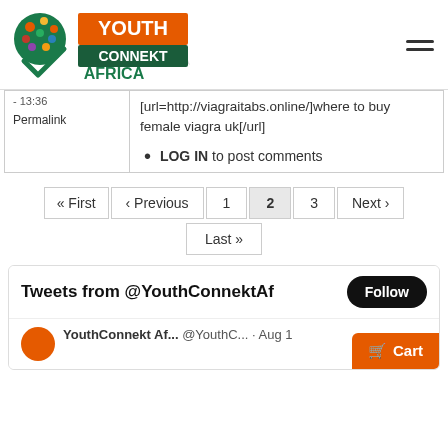[Figure (logo): YouthConnekt Africa logo with colorful globe icon and green checkmark]
- 13:36
Permalink
[url=http://viagraitabs.online/]where to buy female viagra uk[/url]
LOG IN to post comments
« First ‹ Previous 1 2 3 Next › Last »
Tweets from @YouthConnektAf
YouthConnekt Af... @YouthC... · Aug 1